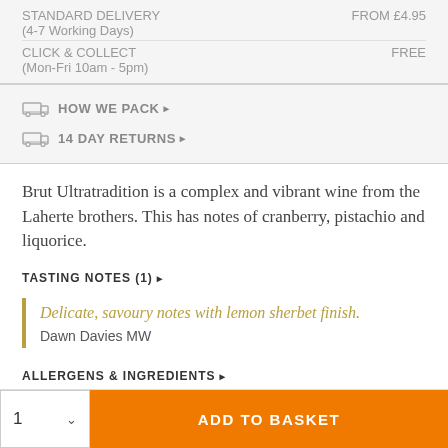| Delivery Type | Price |
| --- | --- |
| STANDARD DELIVERY (4-7 Working Days) | FROM £4.95 |
| CLICK & COLLECT (Mon-Fri 10am - 5pm) | FREE |
HOW WE PACK ▶
14 DAY RETURNS ▶
Brut Ultratradition is a complex and vibrant wine from the Laherte brothers. This has notes of cranberry, pistachio and liquorice.
TASTING NOTES (1) ▶
Delicate, savoury notes with lemon sherbet finish. Dawn Davies MW
ALLERGENS & INGREDIENTS ▶